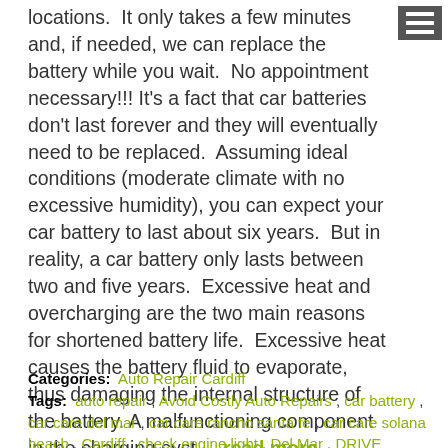locations.  It only takes a few minutes and, if needed, we can replace the battery while you wait.  No appointment necessary!!! It's a fact that car batteries don't last forever and they will eventually need to be replaced.  Assuming ideal conditions (moderate climate with no excessive humidity), you can expect your car battery to last about six years.  But in reality, a car battery only lasts between two and five years.  Excessive heat and overcharging are the two main reasons for shortened battery life.  Excessive heat causes the battery fluid to evaporate, thus damaging the internal structure of the battery. A malfunctioning component in the charging syst ... read more
Categories: Auto Repair Cardiff
Tags: auto repair , Avoid Costly Auto Repairs , car battery , car care del mar , car care rancho santa fe , car care solana beach , Cardiff , check engine light , Del Mar , DRIVE AutoCare , Encinitas , factory scheduled maintenance , rancho santa fe , Solana Beach